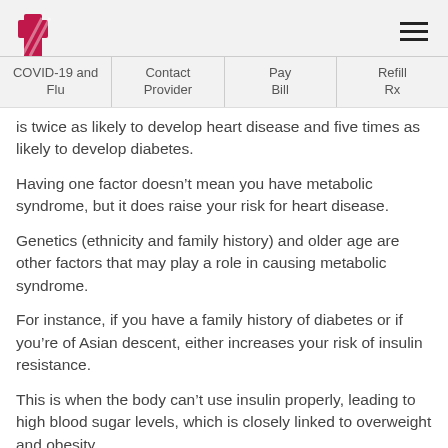COVID-19 and Flu | Contact Provider | Pay Bill | Refill Rx
is twice as likely to develop heart disease and five times as likely to develop diabetes.
Having one factor doesn’t mean you have metabolic syndrome, but it does raise your risk for heart disease.
Genetics (ethnicity and family history) and older age are other factors that may play a role in causing metabolic syndrome.
For instance, if you have a family history of diabetes or if you’re of Asian descent, either increases your risk of insulin resistance.
This is when the body can’t use insulin properly, leading to high blood sugar levels, which is closely linked to overweight and obesity.
Metabolic syndrome is becoming more common due to a rise in obesity and more and that both of the same metabolic...